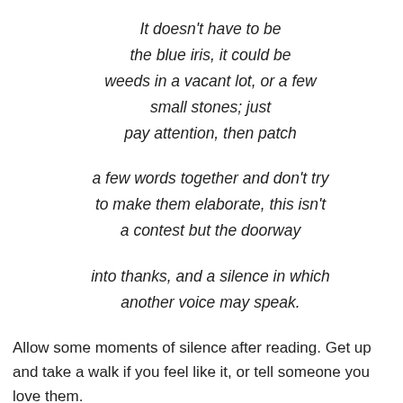It doesn't have to be
the blue iris, it could be
weeds in a vacant lot, or a few
small stones; just
pay attention, then patch

a few words together and don't try
to make them elaborate, this isn't
a contest but the doorway

into thanks, and a silence in which
another voice may speak.
Allow some moments of silence after reading. Get up and take a walk if you feel like it, or tell someone you love them.